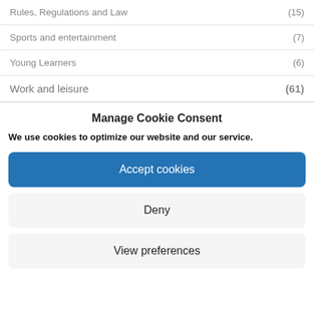Rules, Regulations and Law (15)
Sports and entertainment (7)
Young Learners (6)
Work and leisure (61)
Manage Cookie Consent
We use cookies to optimize our website and our service.
Accept cookies
Deny
View preferences